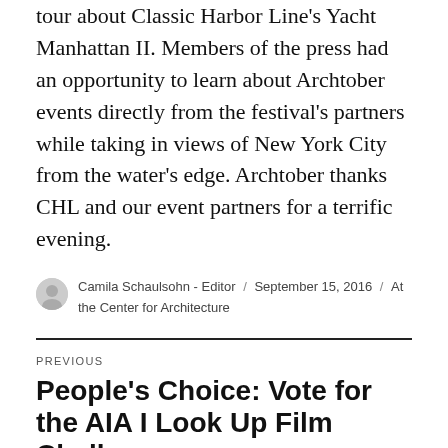tour about Classic Harbor Line's Yacht Manhattan II. Members of the press had an opportunity to learn about Archtober events directly from the festival's partners while taking in views of New York City from the water's edge. Archtober thanks CHL and our event partners for a terrific evening.
Camila Schaulsohn - Editor / September 15, 2016 / At the Center for Architecture
PREVIOUS
People's Choice: Vote for the AIA I Look Up Film Challenge